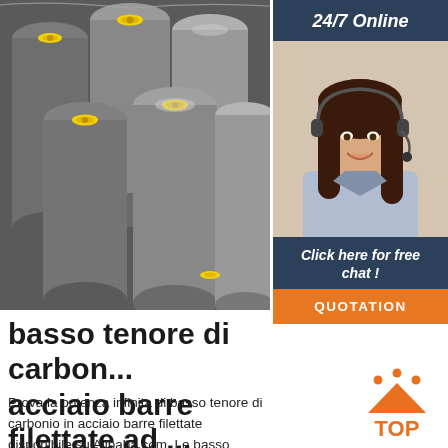[Figure (photo): Photo of steel round bars/rods stacked together, with yellow end caps on some bars, in an industrial warehouse setting]
[Figure (photo): Sidebar: 24/7 Online customer support representative - young woman with headset smiling]
24/7 Online
Click here for free chat !
QUOTATION
basso tenore di carbon... acciaio barre filettate ad ...
Prova la potenza infinita di basso tenore di carbonio in acciaio barre filettate disponibile su Alibaba.com. Le basso tenore di carbonio in acciaio barre filettate sono offerte dall'attre...
[Figure (logo): TOP logo - orange triangle/arrow with dots above and text TOP below]